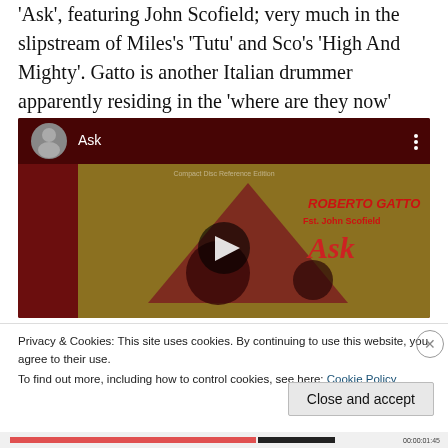'Ask', featuring John Scofield; very much in the slipstream of Miles's 'Tutu' and Sco's 'High And Mighty'. Gatto is another Italian drummer apparently residing in the 'where are they now' file… Or is he?
[Figure (screenshot): YouTube-style embedded video player showing a music video thumbnail for 'Ask' by Roberto Gatto featuring John Scofield. Dark red background with album art showing a triangle shape and red text. Play button centered. User avatar and title 'Ask' visible in header bar.]
Privacy & Cookies: This site uses cookies. By continuing to use this website, you agree to their use.
To find out more, including how to control cookies, see here: Cookie Policy
Close and accept